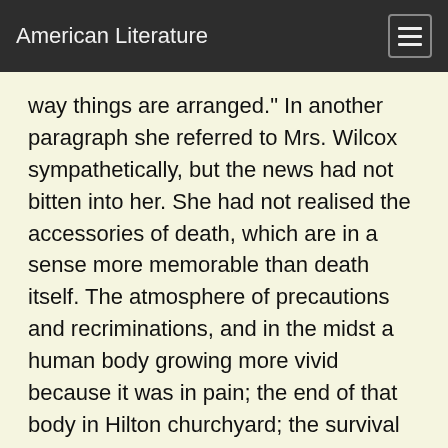American Literature
way things are arranged." In another paragraph she referred to Mrs. Wilcox sympathetically, but the news had not bitten into her. She had not realised the accessories of death, which are in a sense more memorable than death itself. The atmosphere of precautions and recriminations, and in the midst a human body growing more vivid because it was in pain; the end of that body in Hilton churchyard; the survival of something that suggested hope, vivid in its turn against life's workaday cheerfulness;-- all these were lost to Helen, who only felt that a pleasant lady could now be pleasant no longer. She returned to Wickham Place full of her own affairs--